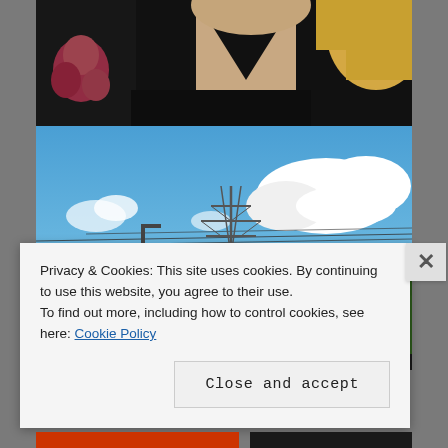[Figure (photo): Top portion of a person wearing a black outfit, partial view showing chest/neck area with blonde hair visible on the right side; on the left a floral pink/red fabric is partially visible against the dark outfit]
[Figure (photo): Outdoor photo showing a blue sky with white clouds, electricity pylons/power lines in the background, green trees along the horizon, and a smiling woman with short dark hair visible in the lower right portion of the image]
Privacy & Cookies: This site uses cookies. By continuing to use this website, you agree to their use.
To find out more, including how to control cookies, see here: Cookie Policy
Close and accept